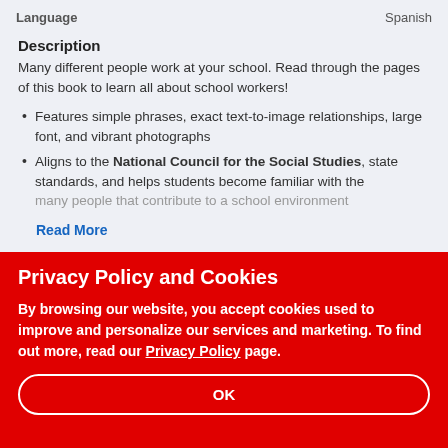Language    Spanish
Description
Many different people work at your school. Read through the pages of this book to learn all about school workers!
Features simple phrases, exact text-to-image relationships, large font, and vibrant photographs
Aligns to the National Council for the Social Studies, state standards, and helps students become familiar with the many people that contribute to a school environment
Read More
Privacy Policy and Cookies
By browsing our website, you accept cookies used to improve and personalize our services and marketing. To find out more, read our Privacy Policy page.
OK